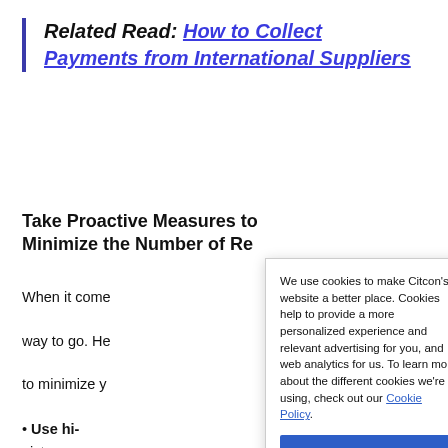Related Read: How to Collect Payments from International Suppliers
Take Proactive Measures to Minimize the Number of Returns
When it comes to returns, prevention is the best way to go. Here are some strategies you can use to minimize your return rate:
Use hi-quality product images and pictures — Include multiple high-quality images on product pages.
We use cookies to make Citcon's website a better place. Cookies help to provide a more personalized experience and relevant advertising for you, and web analytics for us. To learn more about the different cookies we're using, check out our Cookie Policy.
Provide — If you plan to sell, describe it to your clientele